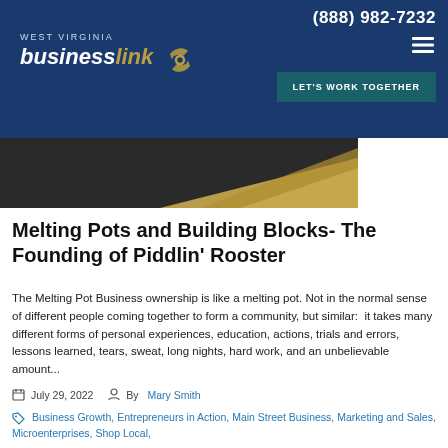(888) 982-7232
[Figure (logo): West Virginia Business Link logo with chain link icon]
[Figure (other): Hamburger menu icon (three horizontal lines)]
LET'S WORK TOGETHER
[Figure (photo): Partial image showing golden/brown angular surfaces against dark background]
Melting Pots and Building Blocks- The Founding of Piddlin' Rooster
The Melting Pot Business ownership is like a melting pot. Not in the normal sense of different people coming together to form a community, but similar:  it takes many different forms of personal experiences, education, actions, trials and errors, lessons learned, tears, sweat, long nights, hard work, and an unbelievable amount...
July 29, 2022   By Mary Smith
Business Growth, Entrepreneurs in Action, Main Street Business, Marketing and Sales, Microenterprises, Shop Local,